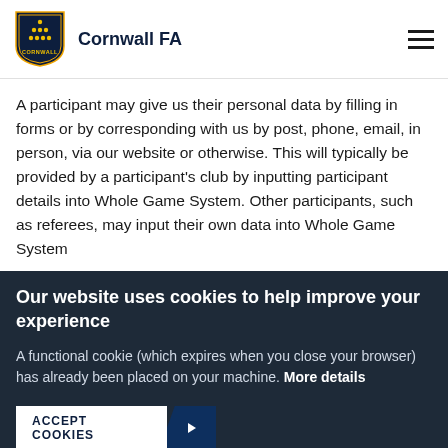Cornwall FA
A participant may give us their personal data by filling in forms or by corresponding with us by post, phone, email, in person, via our website or otherwise. This will typically be provided by a participant's club by inputting participant details into Whole Game System. Other participants, such as referees, may input their own data into Whole Game System
Our website uses cookies to help improve your experience
A functional cookie (which expires when you close your browser) has already been placed on your machine. More details
ACCEPT COOKIES